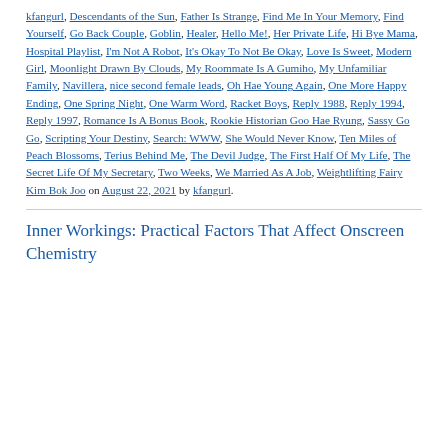kfangurl, Descendants of the Sun, Father Is Strange, Find Me In Your Memory, Find Yourself, Go Back Couple, Goblin, Healer, Hello Me!, Her Private Life, Hi Bye Mama, Hospital Playlist, I'm Not A Robot, It's Okay To Not Be Okay, Love Is Sweet, Modern Girl, Moonlight Drawn By Clouds, My Roommate Is A Gumiho, My Unfamiliar Family, Navillera, nice second female leads, Oh Hae Young Again, One More Happy Ending, One Spring Night, One Warm Word, Racket Boys, Reply 1988, Reply 1994, Reply 1997, Romance Is A Bonus Book, Rookie Historian Goo Hae Ryung, Sassy Go Go, Scripting Your Destiny, Search: WWW, She Would Never Know, Ten Miles of Peach Blossoms, Terius Behind Me, The Devil Judge, The First Half Of My Life, The Secret Life Of My Secretary, Two Weeks, We Married As A Job, Weightlifting Fairy Kim Bok Joo on August 22, 2021 by kfangurl.
Inner Workings: Practical Factors That Affect Onscreen Chemistry